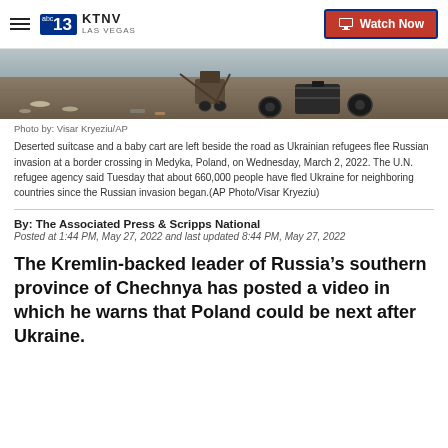KTNV LAS VEGAS | Watch Now
[Figure (photo): Deserted suitcase and baby cart left beside the road at a border crossing, with scattered bottles on the ground]
Photo by: Visar Kryeziu/AP
Deserted suitcase and a baby cart are left beside the road as Ukrainian refugees flee Russian invasion at a border crossing in Medyka, Poland, on Wednesday, March 2, 2022. The U.N. refugee agency said Tuesday that about 660,000 people have fled Ukraine for neighboring countries since the Russian invasion began.(AP Photo/Visar Kryeziu)
By: The Associated Press & Scripps National
Posted at 1:44 PM, May 27, 2022 and last updated 8:44 PM, May 27, 2022
The Kremlin-backed leader of Russia’s southern province of Chechnya has posted a video in which he warns that Poland could be next after Ukraine.